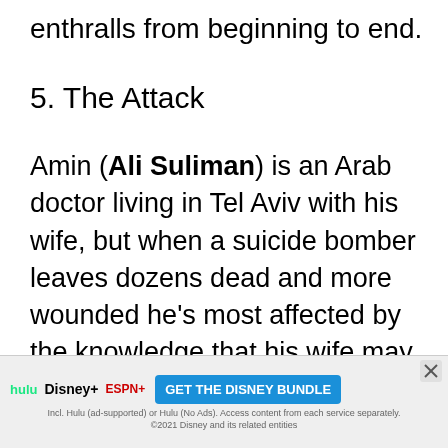enthralls from beginning to end.
5. The Attack
Amin (Ali Suliman) is an Arab doctor living in Tel Aviv with his wife, but when a suicide bomber leaves dozens dead and more wounded he’s most affected by the knowledge that his wife may have been involved. The topic of terrorism has become a ubiquitous one in films, but Ziad Doueiri’s film finds a way to marry suspense and drama with a personal tale of loss and the devastating revelations that...
[Figure (screenshot): Advertisement banner for Disney Bundle featuring Hulu, Disney+, and ESPN+ logos with a 'GET THE DISNEY BUNDLE' call-to-action button and fine print about subscription terms.]